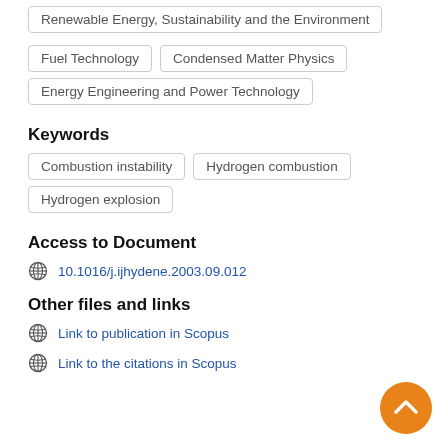Renewable Energy, Sustainability and the Environment
Fuel Technology
Condensed Matter Physics
Energy Engineering and Power Technology
Keywords
Combustion instability
Hydrogen combustion
Hydrogen explosion
Access to Document
10.1016/j.ijhydene.2003.09.012
Other files and links
Link to publication in Scopus
Link to the citations in Scopus